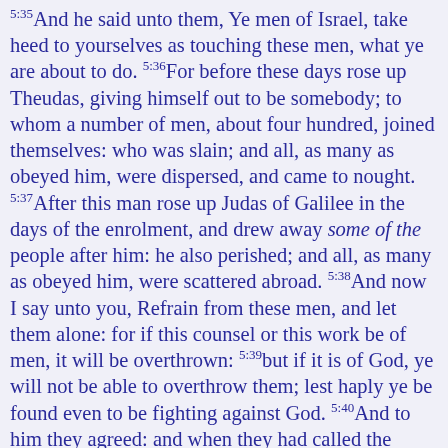5:35And he said unto them, Ye men of Israel, take heed to yourselves as touching these men, what ye are about to do. 5:36For before these days rose up Theudas, giving himself out to be somebody; to whom a number of men, about four hundred, joined themselves: who was slain; and all, as many as obeyed him, were dispersed, and came to nought. 5:37After this man rose up Judas of Galilee in the days of the enrolment, and drew away some of the people after him: he also perished; and all, as many as obeyed him, were scattered abroad. 5:38And now I say unto you, Refrain from these men, and let them alone: for if this counsel or this work be of men, it will be overthrown: 5:39but if it is of God, ye will not be able to overthrow them; lest haply ye be found even to be fighting against God. 5:40And to him they agreed: and when they had called the apostles unto them, they beat them and charged them not to speak in the name of Jesus, and let them go. 5:41They therefore departed from the presence of the council, rejoicing that they were counted worthy to suffer dishonor for the Name. 5:42And every day, in the temple and at home, they ceased not to teach and to preach Jesus as the Christ.